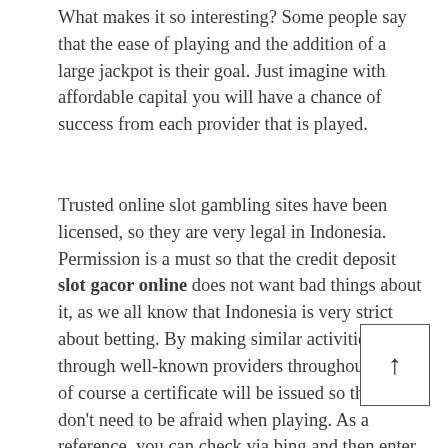What makes it so interesting? Some people say that the ease of playing and the addition of a large jackpot is their goal. Just imagine with affordable capital you will have a chance of success from each provider that is played.
Trusted online slot gambling sites have been licensed, so they are very legal in Indonesia. Permission is a must so that the credit deposit slot gacor online does not want bad things about it, as we all know that Indonesia is very strict about betting. By making similar activities through well-known providers throughout Asia, of course a certificate will be issued so that you don't need to be afraid when playing. As a reference, you can check via bing and then enter the word trusted slot website in the search field.